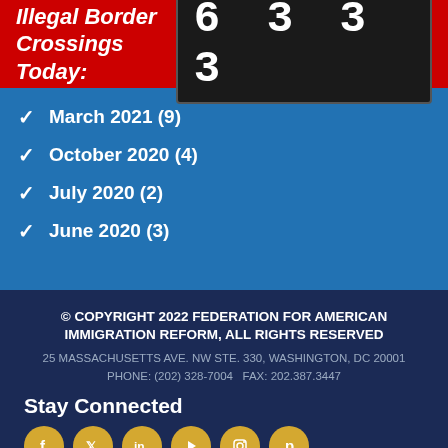Illegal Border Crossings Today: 6 3 3 3
March 2021 (9)
October 2020 (4)
July 2020 (2)
June 2020 (3)
© COPYRIGHT 2022 FEDERATION FOR AMERICAN IMMIGRATION REFORM, ALL RIGHTS RESERVED
25 MASSACHUSETTS AVE. NW STE. 330, WASHINGTON, DC 20001
PHONE: (202) 328-7004   FAX: 202.387.3447
Stay Connected
HOME   PRIVACY POLICY   CONTACT US